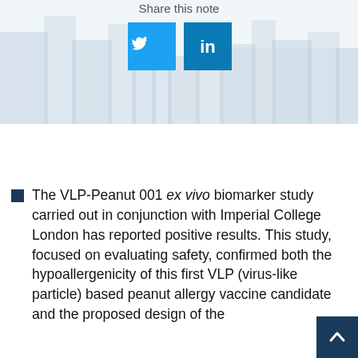Share this note
[Figure (screenshot): Social sharing buttons: Twitter (blue bird icon) and LinkedIn (blue 'in' icon) over a faded silhouette background image]
The VLP-Peanut 001 ex vivo biomarker study carried out in conjunction with Imperial College London has reported positive results. This study, focused on evaluating safety, confirmed both the hypoallergenicity of this first VLP (virus-like particle) based peanut allergy vaccine candidate and the proposed design of the